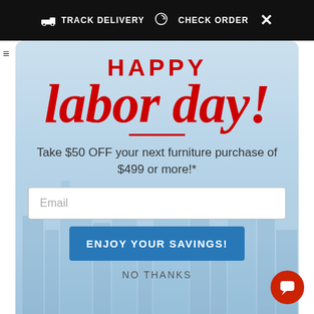TRACK DELIVERY  CHECK ORDER  ×
HAPPY labor day!
Take $50 OFF your next furniture purchase of $499 or more!*
Email
ENJOY YOUR SAVINGS!
NO THANKS